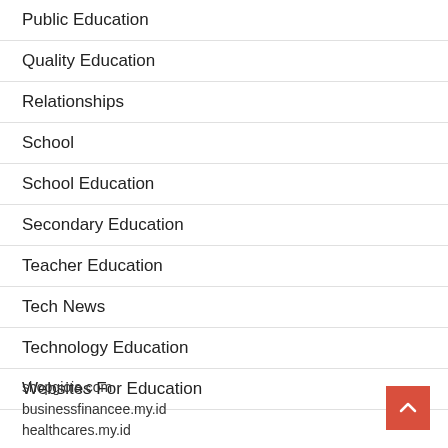Public Education
Quality Education
Relationships
School
School Education
Secondary Education
Teacher Education
Tech News
Technology Education
Websites For Education
shopgioia.com
businessfinancee.my.id
healthcares.my.id